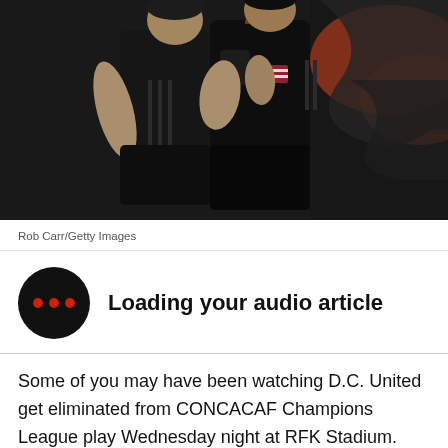[Figure (photo): Two soccer players in dark/black uniforms embracing or celebrating. One player has a US flag patch on their sleeve. Background shows a colorful mural with dark and orange/red wave patterns.]
Rob Carr/Getty Images
Loading your audio article
Some of you may have been watching D.C. United get eliminated from CONCACAF Champions League play Wednesday night at RFK Stadium. Others still may have seen it on television. But in case you missed it,